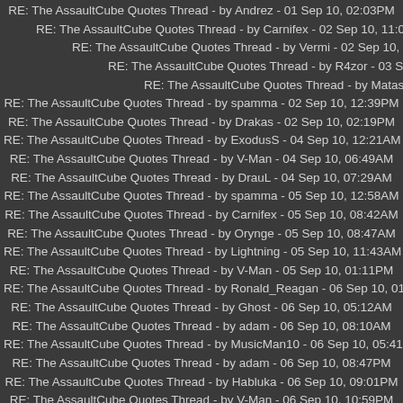RE: The AssaultCube Quotes Thread - by Andrez - 01 Sep 10, 02:03PM
RE: The AssaultCube Quotes Thread - by Carnifex - 02 Sep 10, 11:00AM
RE: The AssaultCube Quotes Thread - by Vermi - 02 Sep 10, 11:10AM
RE: The AssaultCube Quotes Thread - by R4zor - 03 Sep 10, 07:14AM
RE: The AssaultCube Quotes Thread - by Matasar - 04 Sep 10, 09:56P
RE: The AssaultCube Quotes Thread - by spamma - 02 Sep 10, 12:39PM
RE: The AssaultCube Quotes Thread - by Drakas - 02 Sep 10, 02:19PM
RE: The AssaultCube Quotes Thread - by ExodusS - 04 Sep 10, 12:21AM
RE: The AssaultCube Quotes Thread - by V-Man - 04 Sep 10, 06:49AM
RE: The AssaultCube Quotes Thread - by DrauL - 04 Sep 10, 07:29AM
RE: The AssaultCube Quotes Thread - by spamma - 05 Sep 10, 12:58AM
RE: The AssaultCube Quotes Thread - by Carnifex - 05 Sep 10, 08:42AM
RE: The AssaultCube Quotes Thread - by Orynge - 05 Sep 10, 08:47AM
RE: The AssaultCube Quotes Thread - by Lightning - 05 Sep 10, 11:43AM
RE: The AssaultCube Quotes Thread - by V-Man - 05 Sep 10, 01:11PM
RE: The AssaultCube Quotes Thread - by Ronald_Reagan - 06 Sep 10, 01:28A
RE: The AssaultCube Quotes Thread - by Ghost - 06 Sep 10, 05:12AM
RE: The AssaultCube Quotes Thread - by adam - 06 Sep 10, 08:10AM
RE: The AssaultCube Quotes Thread - by MusicMan10 - 06 Sep 10, 05:41PM
RE: The AssaultCube Quotes Thread - by adam - 06 Sep 10, 08:47PM
RE: The AssaultCube Quotes Thread - by Habluka - 06 Sep 10, 09:01PM
RE: The AssaultCube Quotes Thread - by V-Man - 06 Sep 10, 10:59PM
RE: The AssaultCube Quotes Thread - by Ronald_Reagan - 06 Sep 10, 11:49P
RE: The AssaultCube Quotes Thread - by MusicMan10 - 07 Sep 10, 12:23AM
RE: The AssaultCube Quotes Thread - by MorganKell - 07 Sep 10, 12:56AM